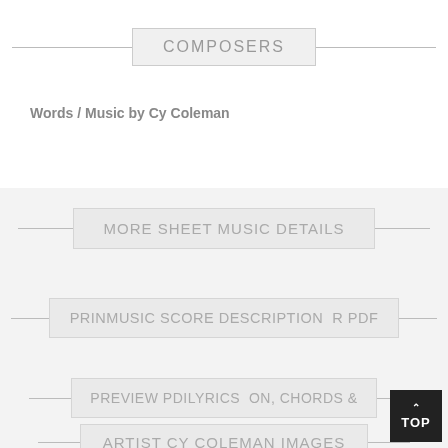COMPOSERS
Words / Music by Cy Coleman
MORE SHEET MUSIC DETAILS
PRINMUSIC SCORE DESCRIPTION  R PDF
PREVIEW PDILYRICS  ON, CHORDS &
ARTIST CY COLEMAN IMAGES